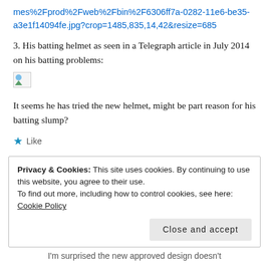mes%2Fprod%2Fweb%2Fbin%2F6306ff7a-0282-11e6-be35-a3e1f14094fe.jpg?crop=1485,835,14,42&resize=685
3. His batting helmet as seen in a Telegraph article in July 2014 on his batting problems:
[Figure (photo): Broken image placeholder icon]
It seems he has tried the new helmet, might be part reason for his batting slump?
★ Like
Privacy & Cookies: This site uses cookies. By continuing to use this website, you agree to their use.
To find out more, including how to control cookies, see here: Cookie Policy
Close and accept
I'm surprised the new approved design doesn't